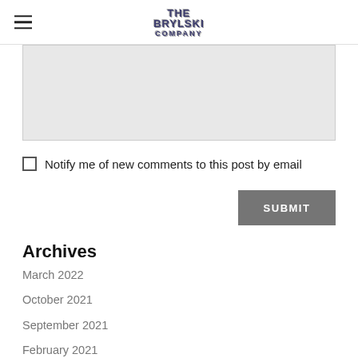THE BRYLSKI COMPANY
[Figure (other): Text area input box (light gray background)]
Notify me of new comments to this post by email
SUBMIT
Archives
March 2022
October 2021
September 2021
February 2021
December 2020